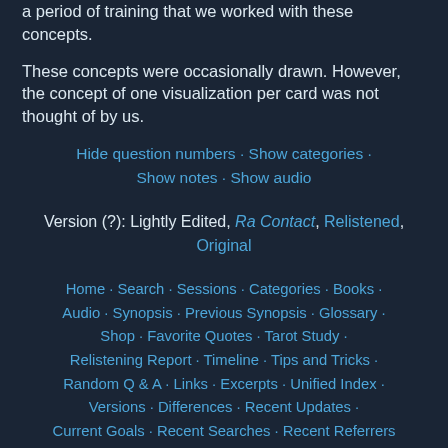a period of training that we worked with these concepts.
These concepts were occasionally drawn. However, the concept of one visualization per card was not thought of by us.
Hide question numbers · Show categories · Show notes · Show audio
Version (?): Lightly Edited, Ra Contact, Relistened, Original
Home · Search · Sessions · Categories · Books · Audio · Synopsis · Previous Synopsis · Glossary · Shop · Favorite Quotes · Tarot Study · Relistening Report · Timeline · Tips and Tricks · Random Q & A · Links · Excerpts · Unified Index · Versions · Differences · Recent Updates · Current Goals · Recent Searches · Recent Referrers · Statistics · Donate